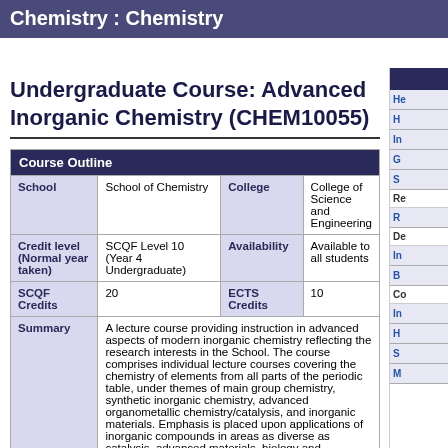Chemistry : Chemistry
Undergraduate Course: Advanced Inorganic Chemistry (CHEM10055)
| Course Outline |
| --- |
| School | School of Chemistry | College | College of Science and Engineering |
| Credit level (Normal year taken) | SCQF Level 10 (Year 4 Undergraduate) | Availability | Available to all students |
| SCQF Credits | 20 | ECTS Credits | 10 |
| Summary | A lecture course providing instruction in advanced aspects of modern inorganic chemistry reflecting the research interests in the School. The course comprises individual lecture courses covering the chemistry of elements from all parts of the periodic table, under themes of main group chemistry, synthetic inorganic chemistry, advanced organometallic chemistry/catalysis, and inorganic materials. Emphasis is placed upon applications of inorganic compounds in areas as diverse as catalysis, advanced materials, biology and medicine. |  |  |